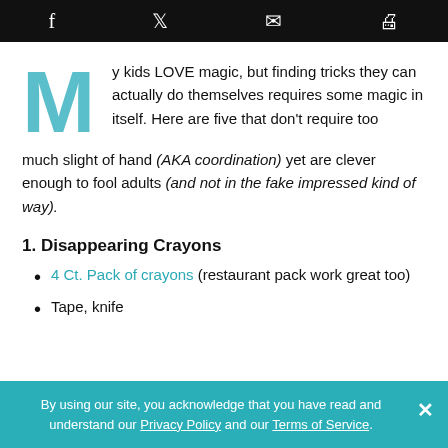f  [twitter bird]  [envelope]  [print]
My kids LOVE magic, but finding tricks they can actually do themselves requires some magic in itself.  Here are five that don't require too much slight of hand (AKA coordination) yet are clever enough to fool adults (and not in the fake impressed kind of way).
1. Disappearing Crayons
4 Ct. Pack of crayons (restaurant pack work great too)
Tape, knife
By using our site, you acknowledge that you have read and understand our Privacy Policy and our Terms of Service.